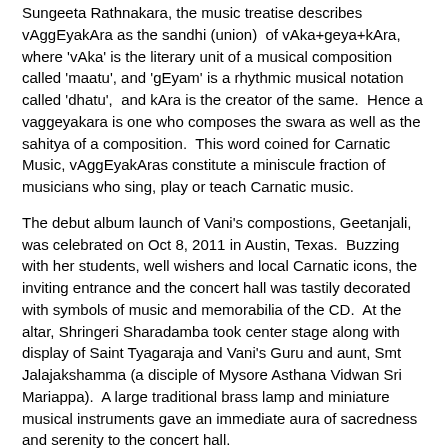Sungeeta Rathnakara, the music treatise describes vAggEyakAra as the sandhi (union) of vAka+geya+kAra, where 'vAka' is the literary unit of a musical composition called 'maatu', and 'gEyam' is a rhythmic musical notation called 'dhatu', and kAra is the creator of the same. Hence a vaggeyakara is one who composes the swara as well as the sahitya of a composition. This word coined for Carnatic Music, vAggEyakAras constitute a miniscule fraction of musicians who sing, play or teach Carnatic music.
The debut album launch of Vani's compostions, Geetanjali, was celebrated on Oct 8, 2011 in Austin, Texas. Buzzing with her students, well wishers and local Carnatic icons, the inviting entrance and the concert hall was tastily decorated with symbols of music and memorabilia of the CD. At the altar, Shringeri Sharadamba took center stage along with display of Saint Tyagaraja and Vani's Guru and aunt, Smt Jalajakshamma (a disciple of Mysore Asthana Vidwan Sri Mariappa). A large traditional brass lamp and miniature musical instruments gave an immediate aura of sacredness and serenity to the concert hall.
Vani's husband and the fulcrum of this effort, Arvind Margasahayam